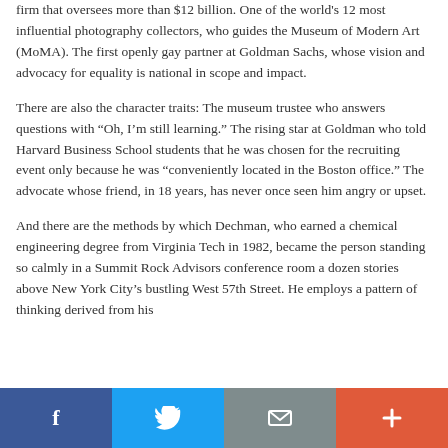firm that oversees more than $12 billion. One of the world's 12 most influential photography collectors, who guides the Museum of Modern Art (MoMA). The first openly gay partner at Goldman Sachs, whose vision and advocacy for equality is national in scope and impact.
There are also the character traits: The museum trustee who answers questions with “Oh, I’m still learning.” The rising star at Goldman who told Harvard Business School students that he was chosen for the recruiting event only because he was “conveniently located in the Boston office.” The advocate whose friend, in 18 years, has never once seen him angry or upset.
And there are the methods by which Dechman, who earned a chemical engineering degree from Virginia Tech in 1982, became the person standing so calmly in a Summit Rock Advisors conference room a dozen stories above New York City’s bustling West 57th Street. He employs a pattern of thinking derived from his
[Figure (other): Social sharing bar with four buttons: Facebook (blue), Twitter (light blue), Email/envelope (gray), Plus/more (orange-red)]